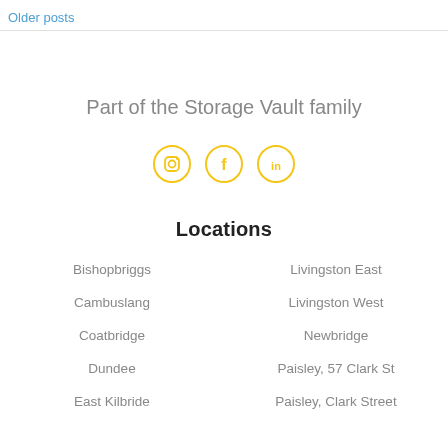Older posts
Part of the Storage Vault family
[Figure (illustration): Three circular social media icons (Instagram, Facebook, LinkedIn) in yellow outline style]
Locations
Bishopbriggs
Livingston East
Cambuslang
Livingston West
Coatbridge
Newbridge
Dundee
Paisley, 57 Clark St
East Kilbride
Paisley, Clark Street